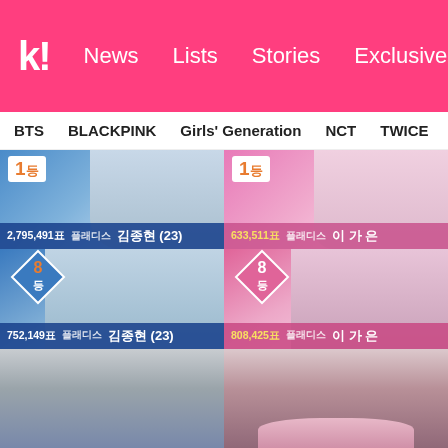k! News Lists Stories Exclusives
BTS  BLACKPINK  Girls' Generation  NCT  TWICE  aespa
[Figure (screenshot): Four-panel screenshot from Produce 101 / Produce X101 Korean reality show. Top-left: Blue-themed panel showing rank 1등 (1st place) with 2,795,491표 votes for 플래디스 김종현 (23). Top-right: Pink-themed panel showing rank 1등 (1st place) with 633,511표 votes for 플래디스 이가은. Middle-left: Blue-themed panel showing rank 8등 (8th place) with 752,149표 for 플래디스 김종현 (23). Middle-right: Pink-themed panel showing rank 8등 (8th place) with 808,425표 for 플래디스 이가은. Bottom row: Photo of Kim Jonghyun (male, black hair, light suit, smiling) on the left; photo of Lee Ga-eun (female, dark reddish hair, pink outfit, smiling) on the right.]